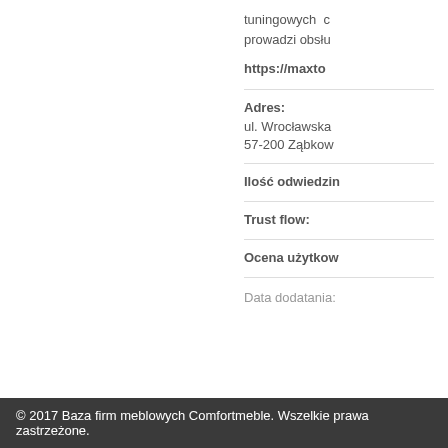tuningowych c prowadzi obsłu
https://maxto
Adres: ul. Wrocławska 57-200 Ząbkow
Ilość odwiedzin
Trust flow:
Ocena użytkow
Data dodatania:
© 2017 Baza firm meblowych Comfortmeble. Wszelkie prawa zastrzeżone.